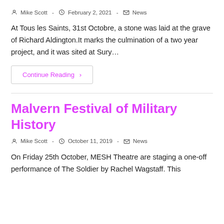Mike Scott · February 2, 2021 · News
At Tous les Saints, 31st Octobre, a stone was laid at the grave of Richard Aldington.It marks the culmination of a two year project, and it was sited at Sury…
Continue Reading ›
Malvern Festival of Military History
Mike Scott · October 11, 2019 · News
On Friday 25th October, MESH Theatre are staging a one-off performance of The Soldier by Rachel Wagstaff. This